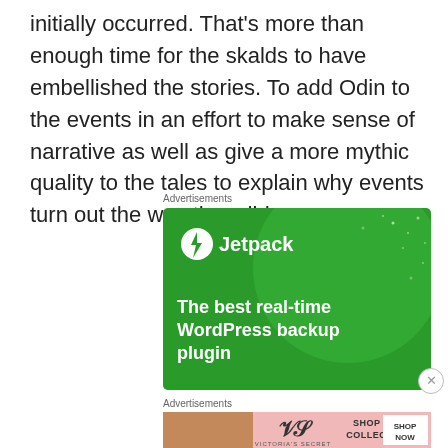initially occurred. That's more than enough time for the skalds to have embellished the stories. To add Odin to the events in an effort to make sense of narrative as well as give a more mythic quality to the tales to explain why events turn out the way they did.
Advertisements
[Figure (screenshot): Jetpack advertisement - green background with large circle design, Jetpack logo and text reading 'The best real-time WordPress backup plugin']
Advertisements
[Figure (screenshot): Victoria's Secret advertisement with model, VS logo, text 'SHOP THE COLLECTION' and 'SHOP NOW' button]